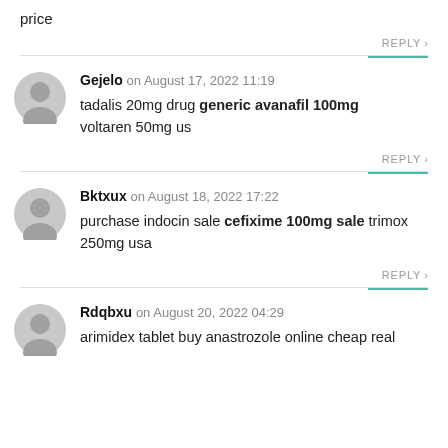price
REPLY >
Gejelo on August 17, 2022 11:19
tadalis 20mg drug generic avanafil 100mg voltaren 50mg us
REPLY >
Bktxux on August 18, 2022 17:22
purchase indocin sale cefixime 100mg sale trimox 250mg usa
REPLY >
Rdqbxu on August 20, 2022 04:29
arimidex tablet buy anastrozole online cheap real